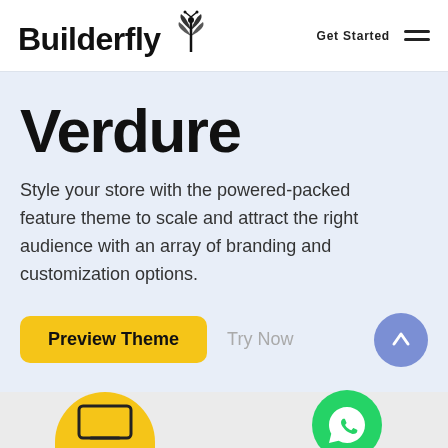Builderfly | Get Started
Verdure
Style your store with the powered-packed feature theme to scale and attract the right audience with an array of branding and customization options.
Preview Theme | Try Now
[Figure (logo): Builderfly logo with dragonfly icon]
[Figure (illustration): Green WhatsApp chat button circle]
[Figure (illustration): Yellow circle with laptop/monitor icon at bottom of page]